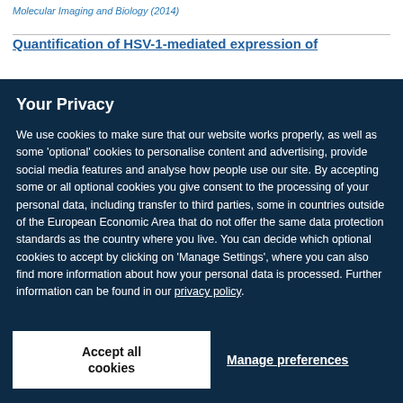Molecular Imaging and Biology (2014)
Quantification of HSV-1-mediated expression of
Your Privacy
We use cookies to make sure that our website works properly, as well as some 'optional' cookies to personalise content and advertising, provide social media features and analyse how people use our site. By accepting some or all optional cookies you give consent to the processing of your personal data, including transfer to third parties, some in countries outside of the European Economic Area that do not offer the same data protection standards as the country where you live. You can decide which optional cookies to accept by clicking on 'Manage Settings', where you can also find more information about how your personal data is processed. Further information can be found in our privacy policy.
Accept all cookies
Manage preferences